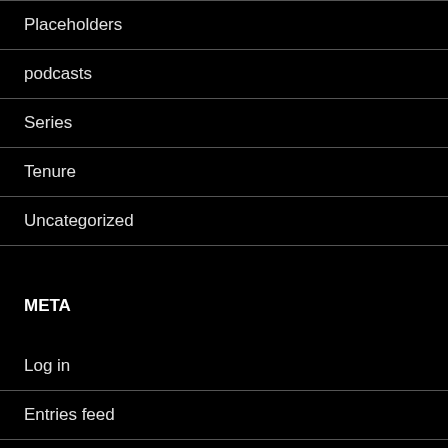Placeholders
podcasts
Series
Tenure
Uncategorized
META
Log in
Entries feed
Comments feed
WordPress.org